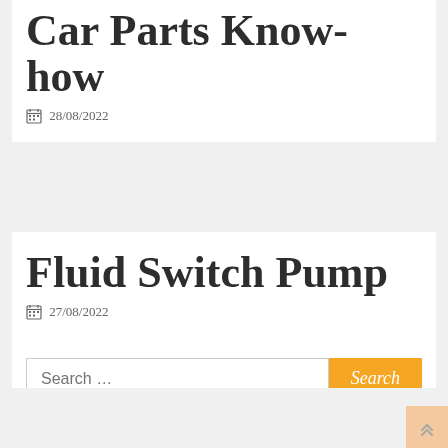Car Parts Know-how
28/08/2022
Fluid Switch Pump
27/08/2022
Search …